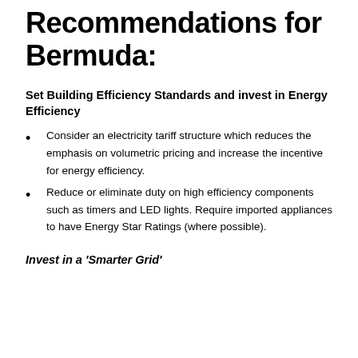Recommendations for Bermuda:
Set Building Efficiency Standards and invest in Energy Efficiency
Consider an electricity tariff structure which reduces the emphasis on volumetric pricing and increase the incentive for energy efficiency.
Reduce or eliminate duty on high efficiency components such as timers and LED lights. Require imported appliances to have Energy Star Ratings (where possible).
Invest in a 'Smarter Grid'